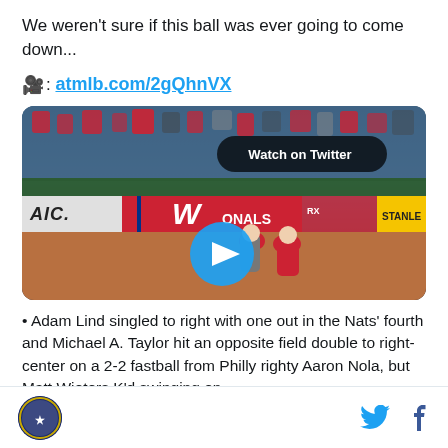We weren't sure if this ball was ever going to come down...
🎥: atmlb.com/2gQhnVX
[Figure (screenshot): Video thumbnail of a baseball game at Nationals Park showing batter and catcher, with a 'Watch on Twitter' overlay and a blue play button in the center.]
• Adam Lind singled to right with one out in the Nats' fourth and Michael A. Taylor hit an opposite field double to right-center on a 2-2 fastball from Philly righty Aaron Nola, but Matt Wieters K'd swinging on